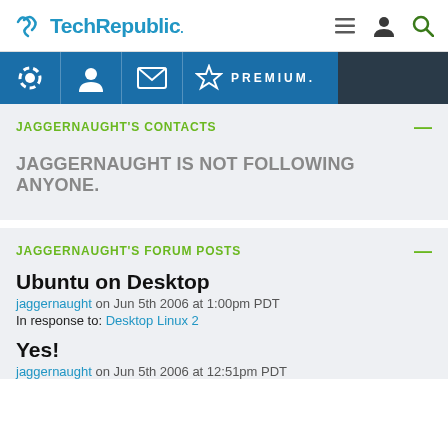TechRepublic
[Figure (screenshot): TechRepublic premium banner with gear, user, email icons and PREMIUM text]
JAGGERNAUGHT'S CONTACTS
JAGGERNAUGHT IS NOT FOLLOWING ANYONE.
JAGGERNAUGHT'S FORUM POSTS
Ubuntu on Desktop
jaggernaught on Jun 5th 2006 at 1:00pm PDT
In response to: Desktop Linux 2
Yes!
jaggernaught on Jun 5th 2006 at 12:51pm PDT